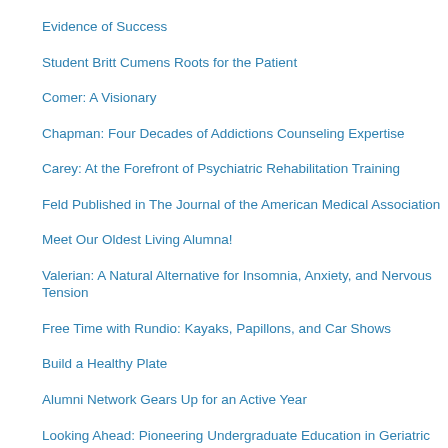Evidence of Success
Student Britt Cumens Roots for the Patient
Comer: A Visionary
Chapman: Four Decades of Addictions Counseling Expertise
Carey: At the Forefront of Psychiatric Rehabilitation Training
Feld Published in The Journal of the American Medical Association
Meet Our Oldest Living Alumna!
Valerian: A Natural Alternative for Insomnia, Anxiety, and Nervous Tension
Free Time with Rundio: Kayaks, Papillons, and Car Shows
Build a Healthy Plate
Alumni Network Gears Up for an Active Year
Looking Ahead: Pioneering Undergraduate Education in Geriatric